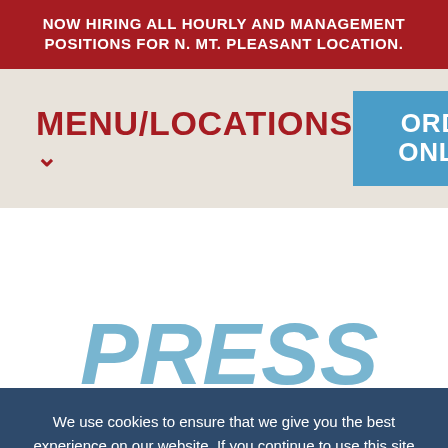NOW HIRING ALL HOURLY AND MANAGEMENT POSITIONS FOR N. MT. PLEASANT LOCATION.
MENU/LOCATIONS
ORDER ONLINE
PRESS
We use cookies to ensure that we give you the best experience on our website. If you continue to use this site we will assume that you are happy with it.
OK